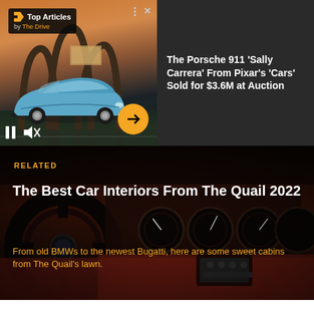[Figure (screenshot): Top panel: video player showing Porsche 911 Sally Carrera on a race track at sunset with arched gate structures. Has Top Articles by The Drive badge, pause/mute controls, three-dot menu, close X button, and orange arrow navigation button.]
The Porsche 911 'Sally Carrera' From Pixar's 'Cars' Sold for $3.6M at Auction
[Figure (photo): BMW car interior dashboard with red leather and dark instruments, photographed from driver seat perspective at The Quail 2022 automotive event.]
RELATED
The Best Car Interiors From The Quail 2022
From old BMWs to the newest Bugatti, here are some sweet cabins from The Quail's lawn.